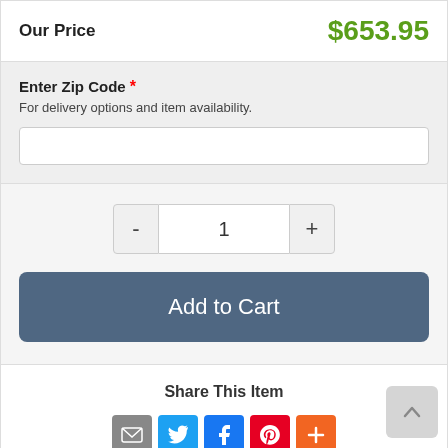Our Price   $653.95
Enter Zip Code *
For delivery options and item availability.
1
Add to Cart
Share This Item